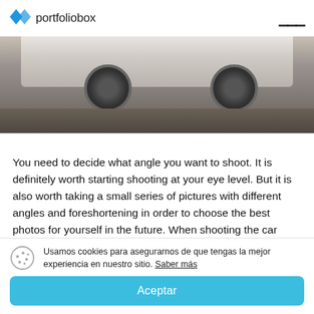portfoliobox
[Figure (photo): Bottom portion of a white car with black wheels on a dark floor surface, photographed from a low angle in a parking structure or showroom.]
You need to decide what angle you want to shoot. It is definitely worth starting shooting at your eye level. But it is also worth taking a small series of pictures with different angles and foreshortening in order to choose the best photos for yourself in the future. When shooting the car from the corner, pay attention to the objects in the background. Try to
Usamos cookies para asegurarnos de que tengas la mejor experiencia en nuestro sitio. Saber más
Aceptar